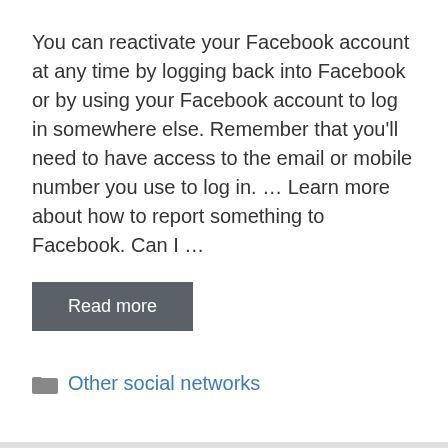You can reactivate your Facebook account at any time by logging back into Facebook or by using your Facebook account to log in somewhere else. Remember that you'll need to have access to the email or mobile number you use to log in. ... Learn more about how to report something to Facebook. Can I ...
Read more
Other social networks